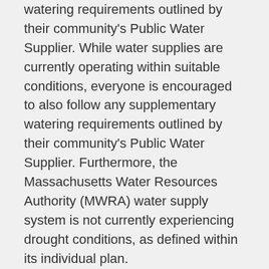watering requirements outlined by their community's Public Water Supplier. While water supplies are currently operating within suitable conditions, everyone is encouraged to also follow any supplementary watering requirements outlined by their community's Public Water Supplier. Furthermore, the Massachusetts Water Resources Authority (MWRA) water supply system is not currently experiencing drought conditions, as defined within its individual plan.
Recommendations for regions in a Level 1-Mild Drought include:
Residents and Businesses:
Limit outdoor watering to 1 day a week